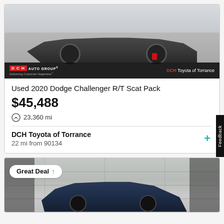[Figure (photo): Front view of a dark grey 2020 Dodge Challenger R/T Scat Pack with DCH Toyota of Torrance dealer branding at the bottom]
Used 2020 Dodge Challenger R/T Scat Pack
$45,488
23,360 mi
DCH Toyota of Torrance
22 mi from 90134
[Figure (photo): Blue/dark car (second listing) shown against a concrete wall background, with a Great Deal badge overlay]